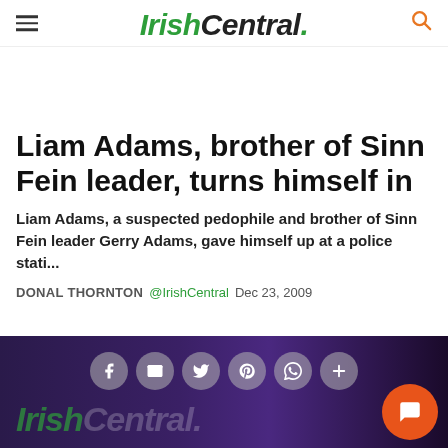IrishCentral.
Liam Adams, brother of Sinn Fein leader, turns himself in
Liam Adams, a suspected pedophile and brother of Sinn Fein leader Gerry Adams, gave himself up at a police stati...
DONAL THORNTON @IrishCentral Dec 23, 2009
[Figure (screenshot): Bottom navigation bar with IrishCentral logo watermark, social sharing icons (Facebook, Email, Twitter, Pinterest, WhatsApp, Plus), and an orange chat button]